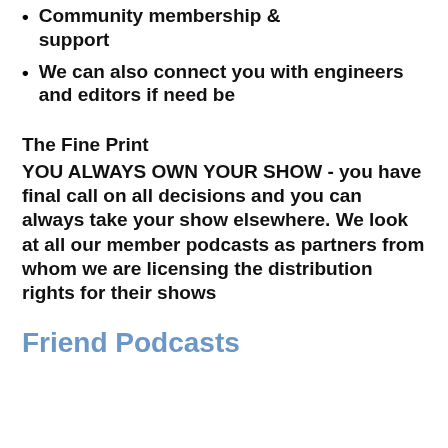Community membership & support
We can also connect you with engineers and editors if need be
The Fine Print
YOU ALWAYS OWN YOUR SHOW - you have final call on all decisions and you can always take your show elsewhere. We look at all our member podcasts as partners from whom we are licensing the distribution rights for their shows
Friend Podcasts